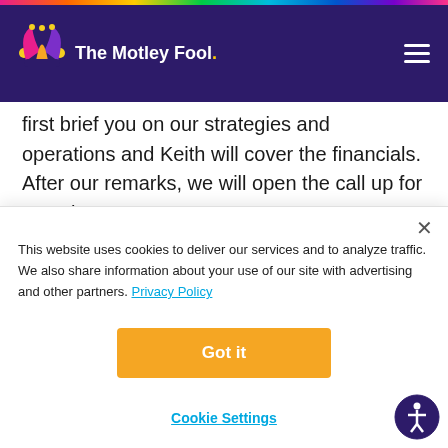The Motley Fool
first brief you on our strategies and operations and Keith will cover the financials. After our remarks, we will open the call up for questions.
We are using slides to accompany this conference call. These slides, along with a replay of today's
This website uses cookies to deliver our services and to analyze traffic. We also share information about your use of our site with advertising and other partners. Privacy Policy
Got it
Cookie Settings